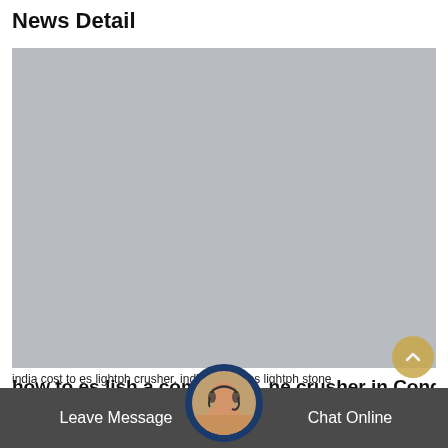News Detail
[Figure (photo): Large gray placeholder image area]
how to es lish a company stone crusher in Congo
Leave Message
Chat Online
india cost to es lightph crusher, india cost to es lightph stone